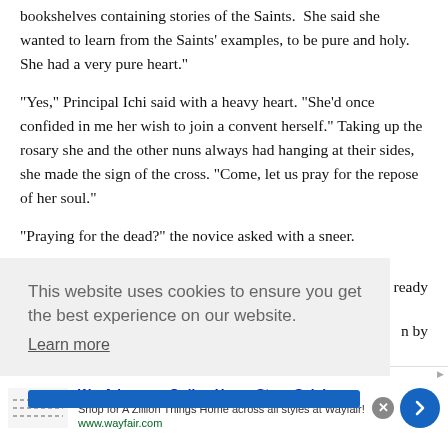bookshelves containing stories of the Saints. “She said she wanted to learn from the Saints’ examples, to be pure and holy. She had a very pure heart.”
“Yes,” Principal Ichi said with a heavy heart. “She’d once confided in me her wish to join a convent herself.” Taking up the rosary she and the other nuns always had hanging at their sides, she made the sign of the cross. “Come, let us pray for the repose of her soul.”
“Praying for the dead?” the novice asked with a sneer.
…ready
…n by
This website uses cookies to ensure you get the best experience on our website. Learn more
[Figure (other): Advertisement banner for Wayfair.com - Online Home Store Sale! with logo, close button, and forward arrow.]